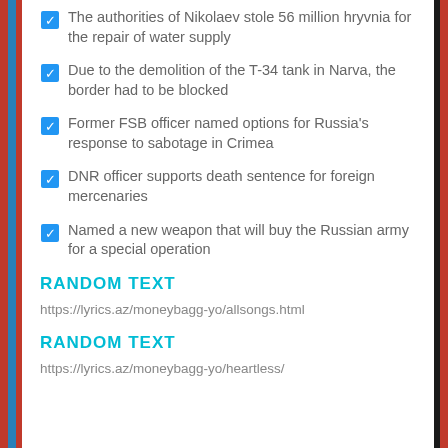The authorities of Nikolaev stole 56 million hryvnia for the repair of water supply
Due to the demolition of the T-34 tank in Narva, the border had to be blocked
Former FSB officer named options for Russia's response to sabotage in Crimea
DNR officer supports death sentence for foreign mercenaries
Named a new weapon that will buy the Russian army for a special operation
RANDOM TEXT
https://lyrics.az/moneybagg-yo/allsongs.html
RANDOM TEXT
https://lyrics.az/moneybagg-yo/heartless/